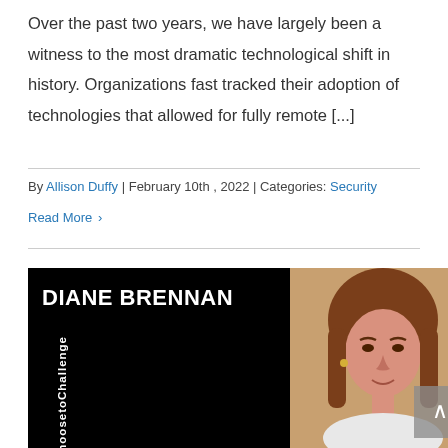Over the past two years, we have largely been a witness to the most dramatic technological shift in history. Organizations fast tracked their adoption of technologies that allowed for fully remote [...]
By Allison Duffy | February 10th , 2022 | Categories: Security
Read More ›
[Figure (photo): Blog post card image featuring DIANE BRENNAN with a #ChoosetoChallenge hashtag on a black background on the left, and a photo of a woman with brown hair on the right]